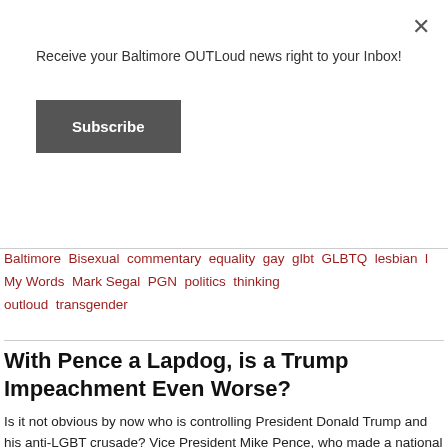Receive your Baltimore OUTLoud news right to your Inbox!
Subscribe
Baltimore Bisexual commentary equality gay glbt GLBTQ lesbian l My Words Mark Segal PGN politics thinking outloud transgender
With Pence a Lapdog, is a Trump Impeachment Even Worse?
Is it not obvious by now who is controlling President Donald Trump and his anti-LGBT crusade? Vice President Mike Pence, who made a national name for himself as governor of Indiana by pushing “religious-liberty” laws to allow citizens to ignore LGBT rights for religious reasons. That’s not to mention anti-trans legislation he supported, and his backing of conversion therapy–all of which Pence sees as his contribution to the moral fiber of